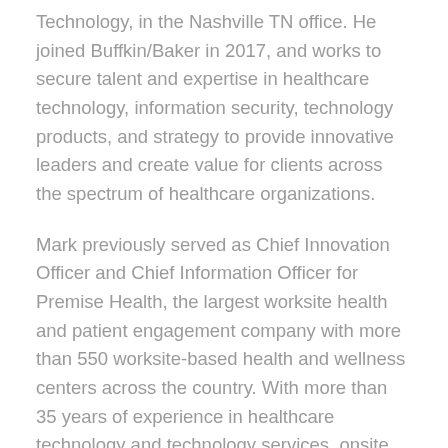Technology, in the Nashville TN office. He joined Buffkin/Baker in 2017, and works to secure talent and expertise in healthcare technology, information security, technology products, and strategy to provide innovative leaders and create value for clients across the spectrum of healthcare organizations.
Mark previously served as Chief Innovation Officer and Chief Information Officer for Premise Health, the largest worksite health and patient engagement company with more than 550 worksite-based health and wellness centers across the country. With more than 35 years of experience in healthcare technology and technology services, onsite healthcare and diagnostic laboratory companies, he has established a reputation for visionary technology solutions that created value for